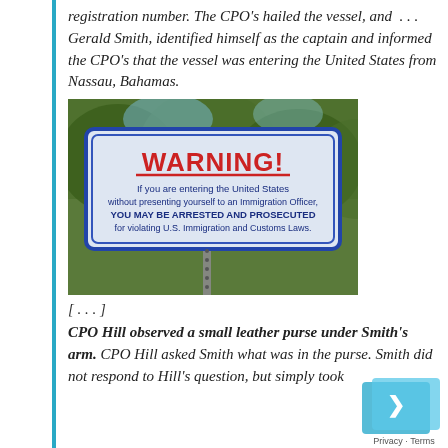registration number. The CPO's hailed the vessel, and . . . Gerald Smith, identified himself as the captain and informed the CPO's that the vessel was entering the United States from Nassau, Bahamas.
[Figure (photo): A WARNING sign on a post outdoors with trees in background. Sign reads: WARNING! If you are entering the United States without presenting yourself to an Immigration Officer, YOU MAY BE ARRESTED AND PROSECUTED for violating U.S. Immigration and Customs Laws.]
[ . . . ]
CPO Hill observed a small leather purse under Smith's arm. CPO Hill asked Smith what was in the purse. Smith did not respond to Hill's question, but simply took